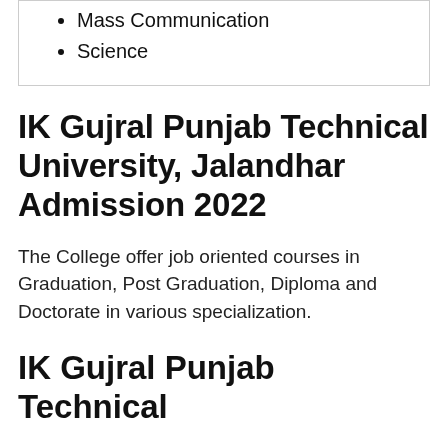Mass Communication
Science
IK Gujral Punjab Technical University, Jalandhar Admission 2022
The College offer job oriented courses in Graduation, Post Graduation, Diploma and Doctorate in various specialization.
IK Gujral Punjab Technical